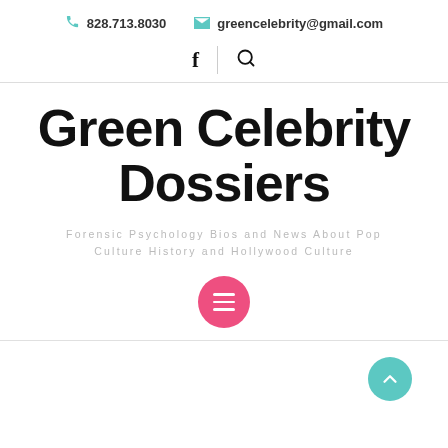828.713.8030  greencelebrity@gmail.com
Green Celebrity Dossiers
Forensic Psychology Bios and News About Pop Culture History and Hollywood Culture
[Figure (other): Pink circular menu button with three horizontal white lines (hamburger icon)]
[Figure (other): Teal circular scroll-to-top button with white upward arrow]